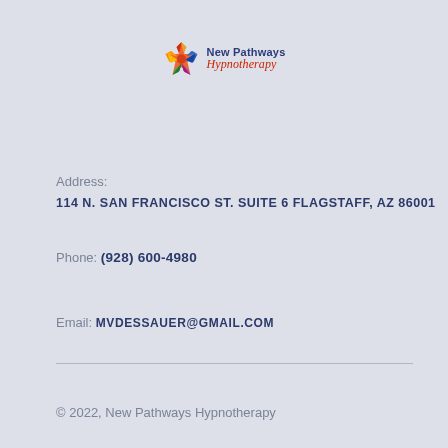[Figure (logo): New Pathways Hypnotherapy logo with a colorful star and text]
Address:
114 N. SAN FRANCISCO ST. SUITE 6 FLAGSTAFF, AZ 86001
Phone: (928) 600-4980
Email: MVDESSAUER@GMAIL.COM
© 2022, New Pathways Hypnotherapy